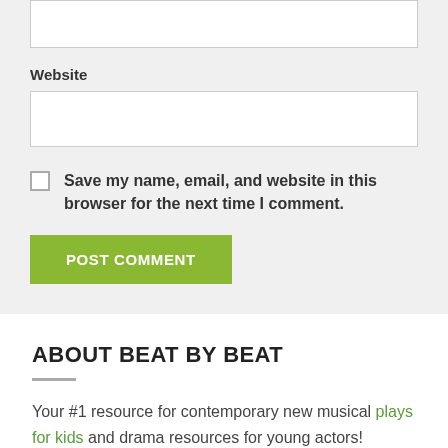Website
Save my name, email, and website in this browser for the next time I comment.
POST COMMENT
ABOUT BEAT BY BEAT
Your #1 resource for contemporary new musical plays for kids and drama resources for young actors!